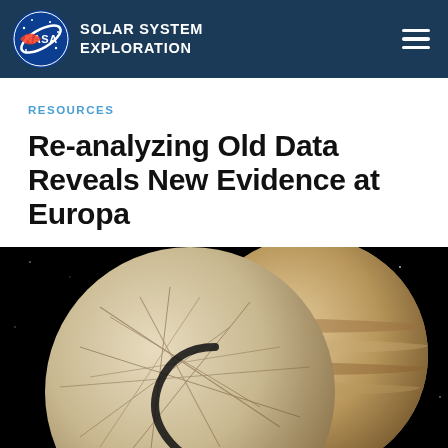NASA SOLAR SYSTEM EXPLORATION
RESOURCES
Re-analyzing Old Data Reveals New Evidence at Europa
[Figure (photo): Illustration of Europa (moon of Jupiter) in the foreground showing icy cracked surface with Jupiter visible behind it, set against a black space background.]